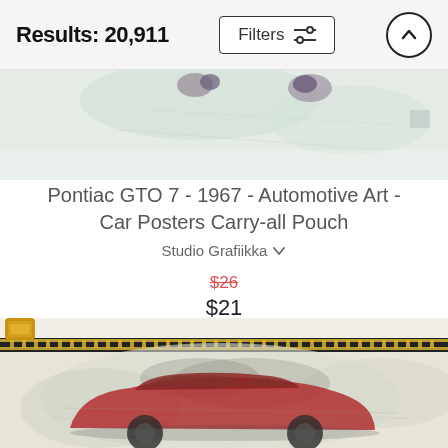Results: 20,911
[Figure (screenshot): Top portion of a product image showing faded automotive art on pale green background, partially cropped]
Pontiac GTO 7 - 1967 - Automotive Art - Car Posters Carry-all Pouch
Studio Grafiikka
$26 (strikethrough) $21
[Figure (photo): Carry-all pouch product showing a red Pontiac GTO 1967 automotive art print on cream/beige background, with gold zipper at top]